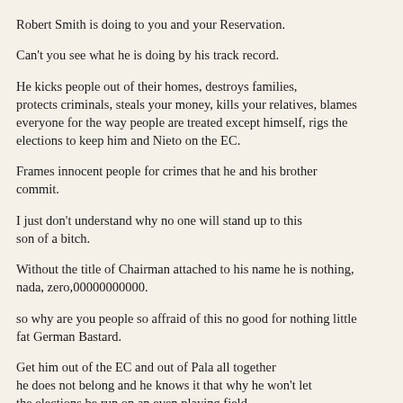Robert Smith is doing to you and your Reservation. Can't you see what he is doing by his track record. He kicks people out of their homes, destroys families, protects criminals, steals your money, kills your relatives, blames everyone for the way people are treated except himself, rigs the elections to keep him and Nieto on the EC. Frames innocent people for crimes that he and his brother commit. I just don't understand why no one will stand up to this son of a bitch. Without the title of Chairman attached to his name he is nothing, nada, zero,00000000000. so why are you people so affraid of this no good for nothing little fat German Bastard. Get him out of the EC and out of Pala all together he does not belong and he knows it that why he won't let the elections be run on an even playing field. He is afraid that he and his brother Andrew and their kids will be kicked out of Pala for good. The only bad thing right now on the Pala Reservation that's destroying all the customs and traditions of the Band is Robert H. Smith and Theresa J. Nieto. They are totally destroying every thing that that our Ancestors